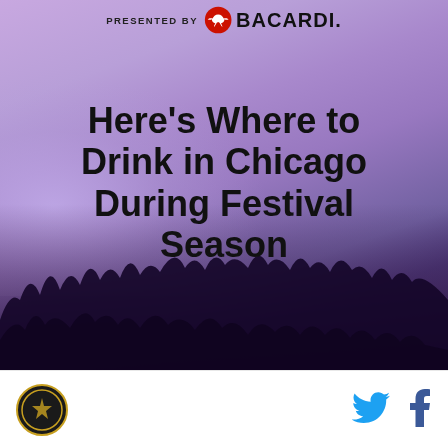[Figure (photo): Advertisement banner with purple festival crowd background showing concertgoers with hands raised, smoke effects, and purple lighting. Presented by Bacardi logo at top. Large bold title text. Red CTA button.]
Here’s Where to Drink in Chicago During Festival Season
SEE THE LIST
[Figure (logo): Circular site logo in black and gold, bottom left corner]
[Figure (logo): Twitter bird icon in blue, bottom right area]
[Figure (logo): Facebook 'f' icon in dark blue, bottom right corner]